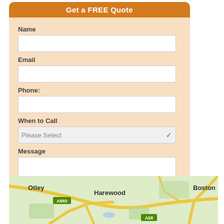Get a FREE Quote
Name
Email
Phone:
When to Call
Message
1 + 2 =
[Figure (map): Street map showing Otley, Harewood, Boston areas with roads A660 and A58 visible]